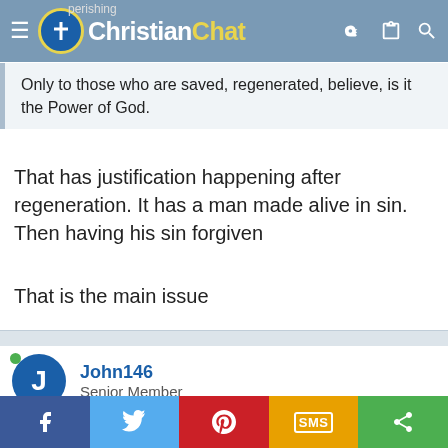Christian Chat
Only to those who are saved, regenerated, believe, is it the Power of God.
That has justification happening after regeneration. It has a man made alive in sin. Then having his sin forgiven
That is the main issue
John146
Senior Member
Sep 3, 2020
#388
eternally-gratefull said: